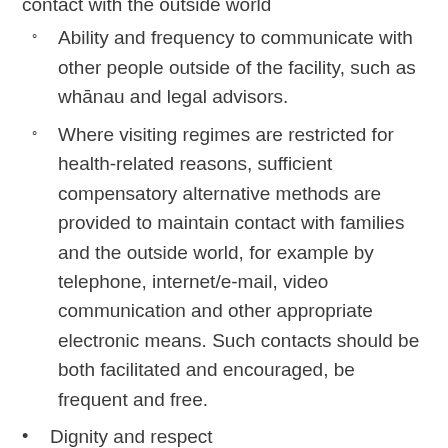contact with the outside world
Ability and frequency to communicate with other people outside of the facility, such as whānau and legal advisors.
Where visiting regimes are restricted for health-related reasons, sufficient compensatory alternative methods are provided to maintain contact with families and the outside world, for example by telephone, internet/e-mail, video communication and other appropriate electronic means. Such contacts should be both facilitated and encouraged, be frequent and free.
Dignity and respect